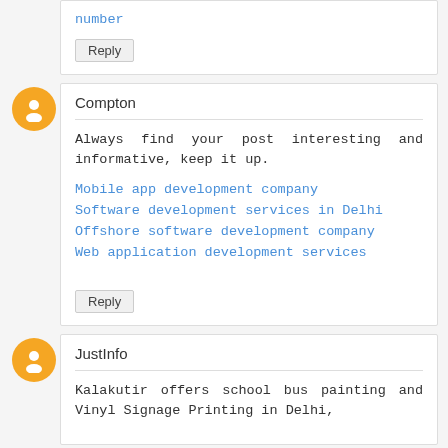number
Reply
Compton
Always find your post interesting and informative, keep it up.
Mobile app development company
Software development services in Delhi
Offshore software development company
Web application development services
Reply
JustInfo
Kalakutir offers school bus painting and Vinyl Signage Printing in Delhi,